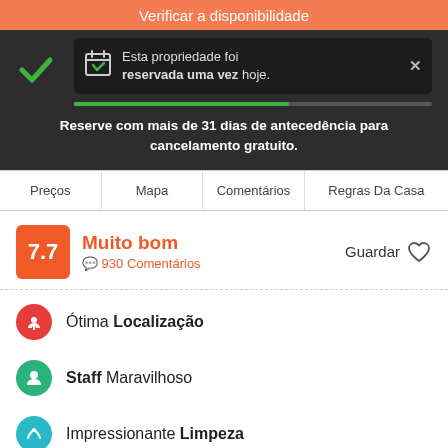Verificar a disponibilidade
Esta propriedade foi reservada uma vez hoje.
Reserve com mais de 31 dias de antecedência para cancelamento gratuito.
Preços | Mapa | Comentários | Regras Da Casa
7.7 Muito bom 930 Comentários Guardar
Ótima Localização
Staff Maravilhoso
Impressionante Limpeza
Curiocity Joburg is Voted as part of the top 10 industrial-chic hostels in the world by the Guardian.